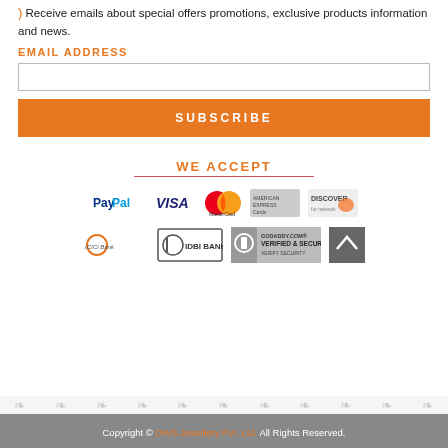) Receive emails about special offers promotions, exclusive products information and news.
EMAIL ADDRESS
[email input field]
SUBSCRIBE
WE ACCEPT
[Figure (logo): Payment method logos: PayPal, VISA, MasterCard, American Express, Discover, ICICI Bank, IDBI Bank, GoDaddy Verified & Secured, scroll-to-top button]
Copyright © DWS Jewellery Pvt. Ltd. All Rights Reserved.